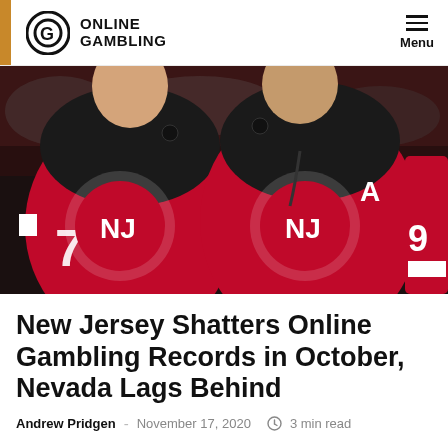ONLINE GAMBLING | Menu
[Figure (photo): Two New Jersey Devils NHL hockey players in red jerseys with the Devils logo, photographed from waist up, facing each other]
New Jersey Shatters Online Gambling Records in October, Nevada Lags Behind
Andrew Pridgen - November 17, 2020  3 min read